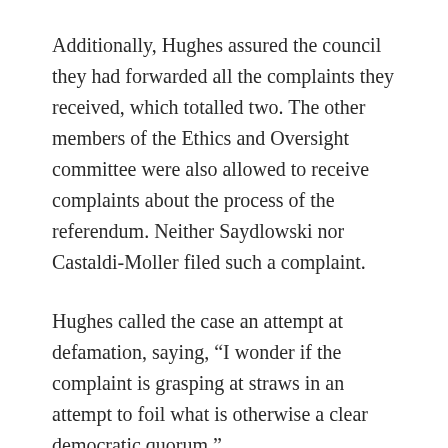Additionally, Hughes assured the council they had forwarded all the complaints they received, which totalled two. The other members of the Ethics and Oversight committee were also allowed to receive complaints about the process of the referendum. Neither Saydlowski nor Castaldi-Moller filed such a complaint.
Hughes called the case an attempt at defamation, saying, “I wonder if the complaint is grasping at straws in an attempt to foil what is otherwise a clear democratic quorum.”
The second section of the complaint dealt with the conduct of the Election Commission through the referendum process, which Saydlowski claims invalidates the results.
First, he said the commission’s communication through a Twitter account, rather than by email, prevented the entire